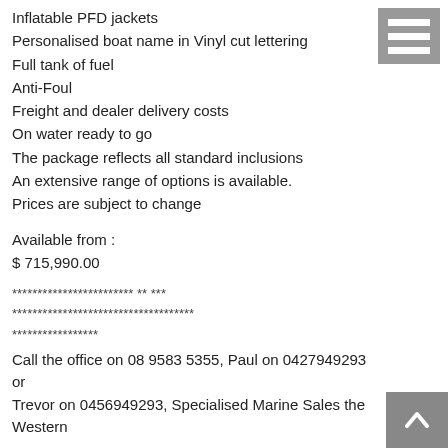Inflatable PFD jackets
Personalised boat name in Vinyl cut lettering
Full tank of fuel
Anti-Foul
Freight and dealer delivery costs
On water ready to go
The package reflects all standard inclusions
An extensive range of options is available.
Prices are subject to change
Available from :
$ 715,990.00
************************ ** ***
************************************
*****************
Call the office on 08 9583 5355, Paul on 0427949293 or Trevor on 0456949293, Specialised Marine Sales the Western